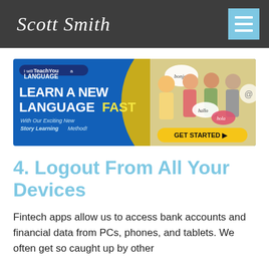Scott Smith
[Figure (illustration): Advertisement banner for 'I will Teach You a Language' website. Blue and yellow background with text: 'I will Teach You a Language — LEARN A NEW LANGUAGE FAST — With Our Exciting New Story Learning Method!' and a GET STARTED button. Right side shows a group of happy young people holding speech bubbles with greetings in different languages.]
4. Logout From All Your Devices
Fintech apps allow us to access bank accounts and financial data from PCs, phones, and tablets. We often get so caught up by other